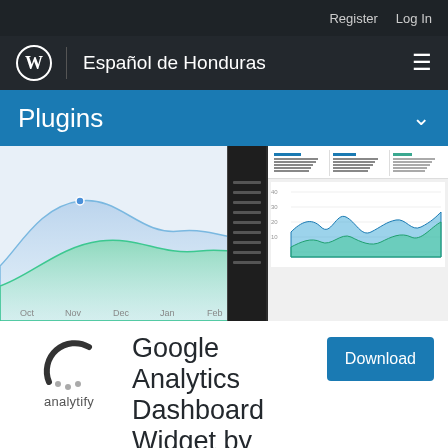Register  Log In
WordPress | Español de Honduras
Plugins
[Figure (screenshot): Screenshot showing the Analytify Google Analytics plugin dashboard with area charts in blue and green, and a WordPress admin panel sidebar on the right showing analytics data with line charts.]
[Figure (logo): Analytify plugin logo: a partial circle arc with three dots below and the word 'analytify' underneath.]
Google Analytics Dashboard Widget by Analytify
Download